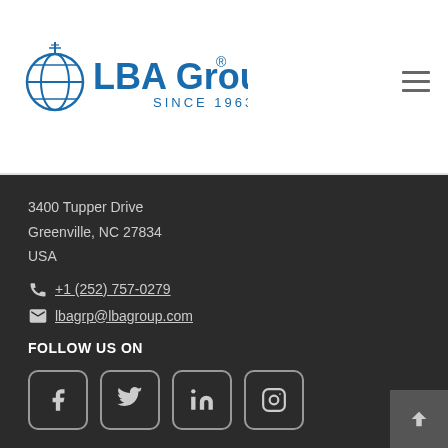[Figure (logo): LBA Group logo with globe icon and text 'LBA Group® SINCE 1963' in blue]
3400 Tupper Drive
Greenville, NC 27834
USA
+1 (252) 757-0279
lbagrp@lbagroup.com
FOLLOW US ON
[Figure (illustration): Social media icons: Facebook, Twitter, LinkedIn, Instagram — each in a rounded square border]